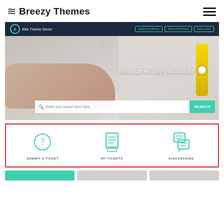≈≈ Breezy Themes
[Figure (screenshot): Screenshot of a help desk / support portal website called 'Alfa Theme Demo'. The top navigation bar is dark navy with the site logo and teal-outlined buttons (ADMIN PORTAL, TECH PROFILE, SIGN OUT). Below is a hero image showing hands on a white keyboard with a yellow watch, overlaid with the text 'How can we help you today?' and a search bar with placeholder 'Enter your search term here..' and a teal SEARCH button.]
[Figure (screenshot): A section highlighted with a red border showing three teal icon buttons: SUBMIT A TICKET (question mark icon), MY TICKETS (document list icon), and DISCUSSIONS (chat/document icon).]